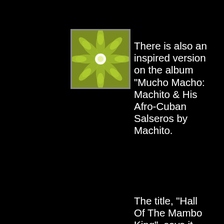[Figure (illustration): Album cover thumbnail showing a green floral/geometric pattern with white starburst center on olive/lime green background]
There is also an inspired version on the album "Mucho Macho: Machito & His Afro-Cuban Salseros by Machito.
The title, "Hall Of The Mambo King", says it